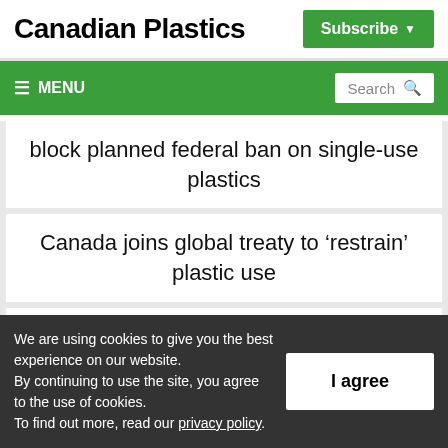Canadian Plastics
Subscribe
≡ MENU  Search
block planned federal ban on single-use plastics
Canada joins global treaty to 'restrain' plastic use
ABC Technologies appoints Terry
We are using cookies to give you the best experience on our website.
By continuing to use the site, you agree to the use of cookies.
To find out more, read our privacy policy.
I agree